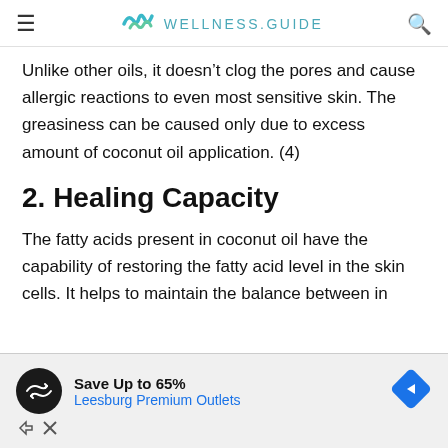WELLNESS.GUIDE
Unlike other oils, it doesn’t clog the pores and cause allergic reactions to even most sensitive skin. The greasiness can be caused only due to excess amount of coconut oil application. (4)
2. Healing Capacity
The fatty acids present in coconut oil have the capability of restoring the fatty acid level in the skin cells. It helps to maintain the balance between in
[Figure (other): Advertisement banner: Save Up to 65% Leesburg Premium Outlets]